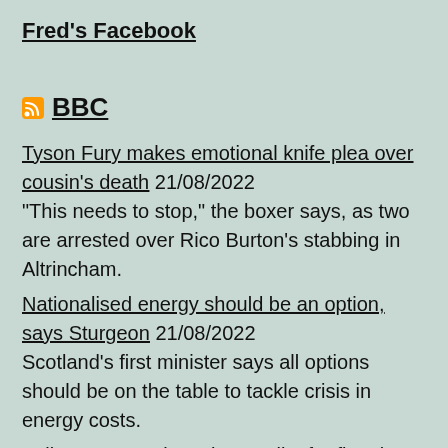Fred's Facebook
BBC
Tyson Fury makes emotional knife plea over cousin's death 21/08/2022
"This needs to stop," the boxer says, as two are arrested over Rico Burton's stabbing in Altrincham.
Nationalised energy should be an option, says Sturgeon 21/08/2022
Scotland's first minister says all options should be on the table to tackle crisis in energy costs.
Felixstowe: Dock workers strike for first time in 30